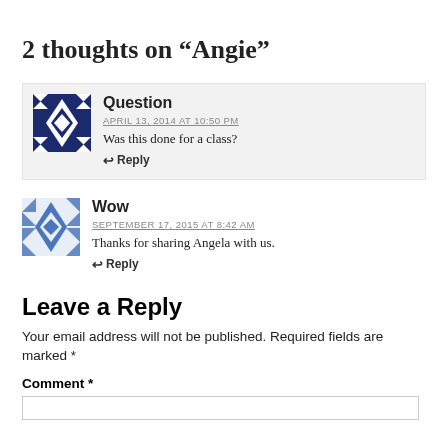2 thoughts on “Angie”
Question
APRIL 13, 2014 AT 10:50 PM
Was this done for a class?
Reply
Wow
SEPTEMBER 17, 2015 AT 8:42 AM
Thanks for sharing Angela with us.
Reply
Leave a Reply
Your email address will not be published. Required fields are marked *
Comment *